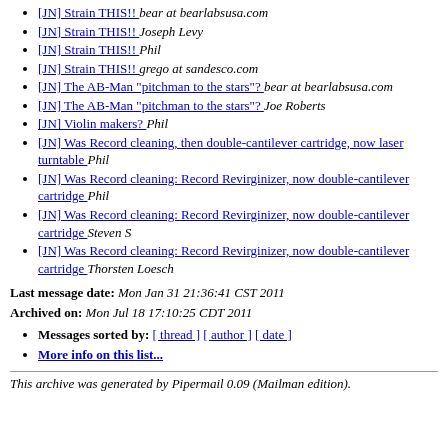[JN] Strain THIS!!  bear at bearlabsusa.com
[JN] Strain THIS!!  Joseph Levy
[JN] Strain THIS!!  Phil
[JN] Strain THIS!!  grego at sandesco.com
[JN] The AB-Man "pitchman to the stars"?  bear at bearlabsusa.com
[JN] The AB-Man "pitchman to the stars"?  Joe Roberts
[JN] Violin makers?  Phil
[JN] Was Record cleaning, then double-cantilever cartridge, now laser turntable  Phil
[JN] Was Record cleaning: Record Revirginizer, now double-cantilever cartridge  Phil
[JN] Was Record cleaning: Record Revirginizer, now double-cantilever cartridge  Steven S
[JN] Was Record cleaning: Record Revirginizer, now double-cantilever cartridge  Thorsten Loesch
Last message date: Mon Jan 31 21:36:41 CST 2011
Archived on: Mon Jul 18 17:10:25 CDT 2011
Messages sorted by: [ thread ] [ author ] [ date ]
More info on this list...
This archive was generated by Pipermail 0.09 (Mailman edition).